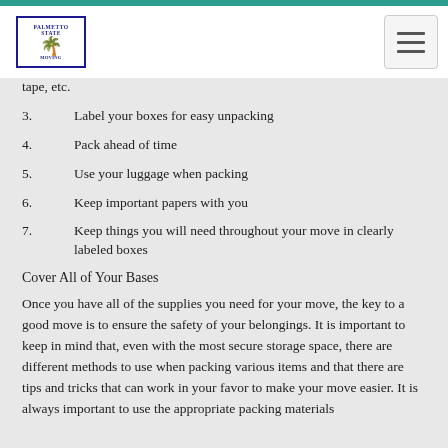Palmetto State Moving — navigation header
tape, etc.
3.      Label your boxes for easy unpacking
4.      Pack ahead of time
5.      Use your luggage when packing
6.      Keep important papers with you
7.      Keep things you will need throughout your move in clearly labeled boxes
Cover All of Your Bases
Once you have all of the supplies you need for your move, the key to a good move is to ensure the safety of your belongings. It is important to keep in mind that, even with the most secure storage space, there are different methods to use when packing various items and that there are tips and tricks that can work in your favor to make your move easier. It is always important to use the appropriate packing materials